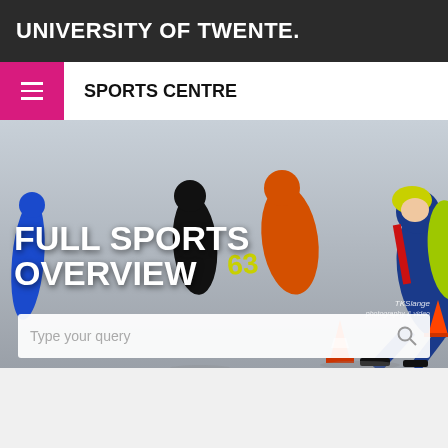UNIVERSITY OF TWENTE.
SPORTS CENTRE
[Figure (photo): Speed skaters racing on an ice rink, wearing colorful suits (blue, orange, black, yellow). Orange traffic cones on the ice. A large text overlay reads FULL SPORTS OVERVIEW. Photo credit: TKSlange photography & video.]
Type your query
ALL CATEGORIES
STUDENT ASSOCIATIONS
GROU...
FEEDBACK